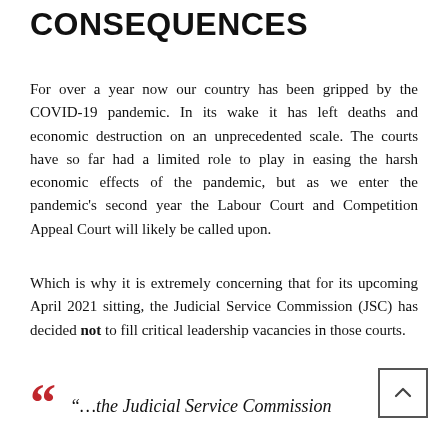CONSEQUENCES
For over a year now our country has been gripped by the COVID-19 pandemic. In its wake it has left deaths and economic destruction on an unprecedented scale. The courts have so far had a limited role to play in easing the harsh economic effects of the pandemic, but as we enter the pandemic's second year the Labour Court and Competition Appeal Court will likely be called upon.
Which is why it is extremely concerning that for its upcoming April 2021 sitting, the Judicial Service Commission (JSC) has decided not to fill critical leadership vacancies in those courts.
“…the Judicial Service Commission